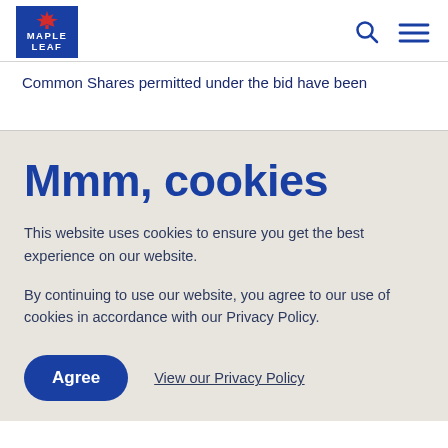Maple Leaf Foods logo, search icon, menu icon
Common Shares permitted under the bid have been [continued below]
Mmm, cookies
This website uses cookies to ensure you get the best experience on our website.

By continuing to use our website, you agree to our use of cookies in accordance with our Privacy Policy.
Agree   View our Privacy Policy